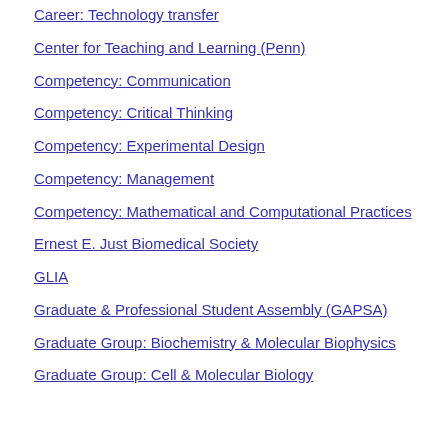Career: Technology transfer
Center for Teaching and Learning (Penn)
Competency: Communication
Competency: Critical Thinking
Competency: Experimental Design
Competency: Management
Competency: Mathematical and Computational Practices
Ernest E. Just Biomedical Society
GLIA
Graduate & Professional Student Assembly (GAPSA)
Graduate Group: Biochemistry & Molecular Biophysics
Graduate Group: Cell & Molecular Biology